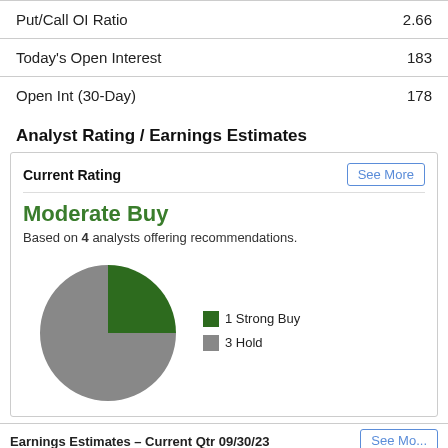| Metric | Value |
| --- | --- |
| Put/Call OI Ratio | 2.66 |
| Today's Open Interest | 183 |
| Open Int (30-Day) | 178 |
Analyst Rating / Earnings Estimates
[Figure (pie-chart): Current Rating]
Moderate Buy
Based on 4 analysts offering recommendations.
Earnings Estimates – Current Qtr 09/30/23